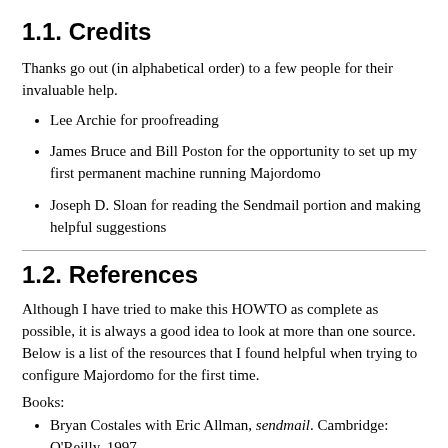1.1. Credits
Thanks go out (in alphabetical order) to a few people for their invaluable help.
Lee Archie for proofreading
James Bruce and Bill Poston for the opportunity to set up my first permanent machine running Majordomo
Joseph D. Sloan for reading the Sendmail portion and making helpful suggestions
1.2. References
Although I have tried to make this HOWTO as complete as possible, it is always a good idea to look at more than one source. Below is a list of the resources that I found helpful when trying to configure Majordomo for the first time.
Books:
Bryan Costales with Eric Allman, sendmail. Cambridge: O'Reilly, 1997.